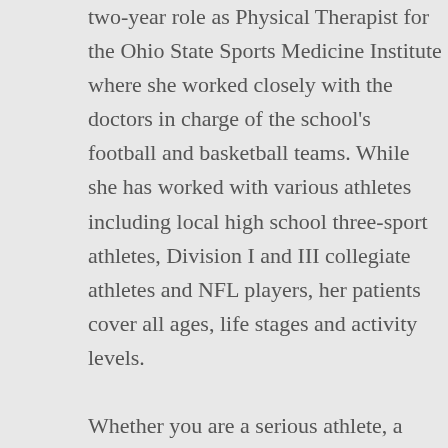two-year role as Physical Therapist for the Ohio State Sports Medicine Institute where she worked closely with the doctors in charge of the school's football and basketball teams. While she has worked with various athletes including local high school three-sport athletes, Division I and III collegiate athletes and NFL players, her patients cover all ages, life stages and activity levels.

Whether you are a serious athlete, a weekend warrior or simply aim to return to your daily activities after surgery, Diane takes a holistic, whole body approach to your recovery from injury. Diane enjoys helping her patients